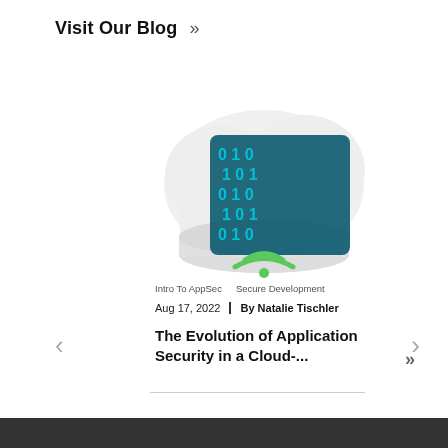Visit Our Blog »
[Figure (illustration): 3D illustration of a cloud shape filled with binary digits (0s and 1s) in blue/teal colors on a dark teal background, with a partial WiFi/RSS icon visible below]
Intro To AppSec   Secure Development
Aug 17, 2022  |  By Natalie Tischler
The Evolution of Application Security in a Cloud-...